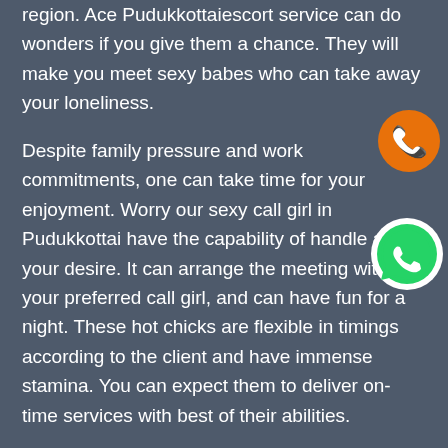region. Ace Pudukkottaiescort service can do wonders if you give them a chance. They will make you meet sexy babes who can take away your loneliness.
Despite family pressure and work commitments, one can take time for your enjoyment. Worry our sexy call girl in Pudukkottai have the capability of handle all your desire. It can arrange the meeting with your preferred call girl, and can have fun for a night. These hot chicks are flexible in timings according to the client and have immense stamina. You can expect them to deliver on-time services with best of their abilities.
Dive into the ocean of love with call girls Pudukkottai.
[Figure (illustration): Orange circle phone call icon]
[Figure (illustration): WhatsApp green circle logo icon]